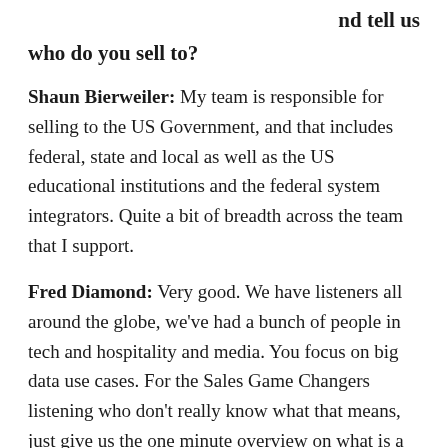nd tell us
who do you sell to?
Shaun Bierweiler: My team is responsible for selling to the US Government, and that includes federal, state and local as well as the US educational institutions and the federal system integrators. Quite a bit of breadth across the team that I support.
Fred Diamond: Very good. We have listeners all around the globe, we've had a bunch of people in tech and hospitality and media. You focus on big data use cases. For the Sales Game Changers listening who don't really know what that means, just give us the one minute overview on what is a big data use case.
Shaun Bierweiler: First, the big data problem is when